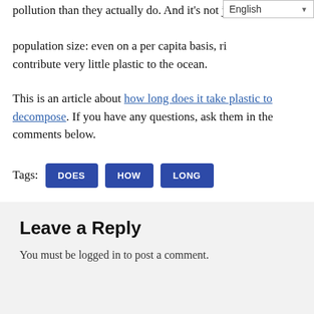pollution than they actually do. And it's not just population size: even on a per capita basis, rich countries contribute very little plastic to the ocean.
This is an article about how long does it take plastic to decompose. If you have any questions, ask them in the comments below.
Tags: DOES HOW LONG
Leave a Reply
You must be logged in to post a comment.